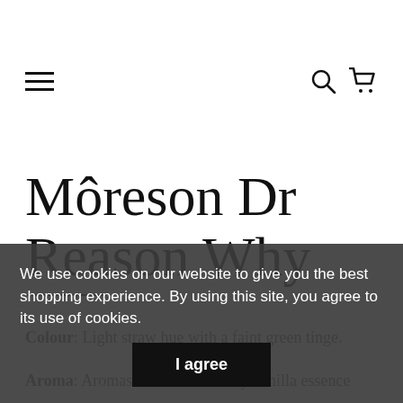[Figure (screenshot): Navigation bar with hamburger menu on left and search/cart icons on right]
Môreson Dr Reason Why
Colour: Light straw hue with a faint green tinge.
Aroma: Aromas are dominated by vanilla essence
We use cookies on our website to give you the best shopping experience. By using this site, you agree to its use of cookies.